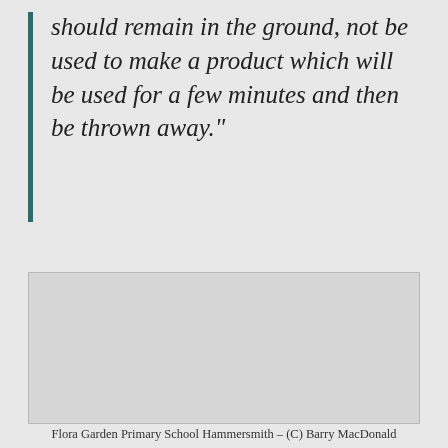should remain in the ground, not be used to make a product which will be used for a few minutes and then be thrown away."
[Figure (photo): A large grey/light-coloured rectangular image placeholder area.]
Flora Garden Primary School Hammersmith – (C) Barry MacDonald